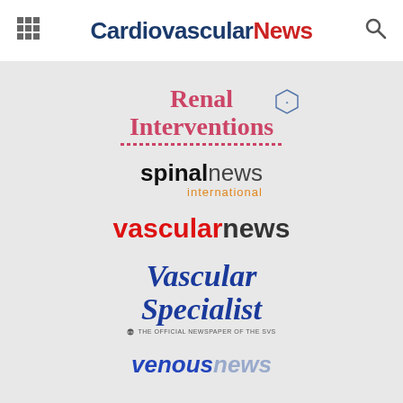Cardiovascular News
[Figure (logo): Renal Interventions logo with pink/red serif font and dotted underline, small hexagon badge]
[Figure (logo): spinal news international logo — 'spinal' in bold black, 'news' in regular gray, 'international' in orange below]
[Figure (logo): vascularnews logo — 'vascular' in bold red, 'news' in bold dark gray]
[Figure (logo): Vascular Specialist logo — blue bold italic serif font, subtitle 'THE OFFICIAL NEWSPAPER OF THE SVS']
[Figure (logo): venousnews logo — 'venous' in bold blue italic, 'news' in light blue italic]